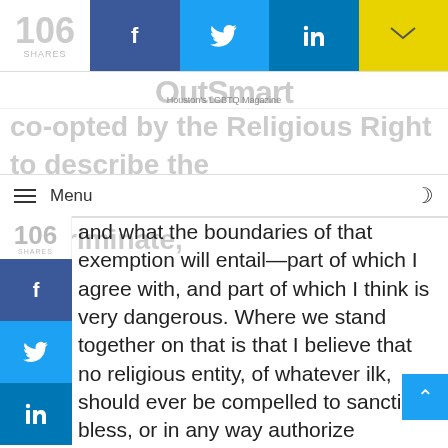106 SHARES
[Figure (logo): OutSmart Houston's LGBTQ Magazine logo with social share buttons (Facebook, Twitter, LinkedIn, Email)]
co-opted by the Religious Right to describe the theory that religions will have to discriminate,
Menu
and what the boundaries of that exemption will entail—part of which I agree with, and part of which I think is very dangerous. Where we stand together on that is that I believe that no religious entity, of whatever ilk, should ever be compelled to sanction, bless, or in any way authorize relationships between two people of the same gender [if it is] against their own religious teaching. I'm totally supportive of the exemption. So on the one hand, I would support a church not having to hire a minister